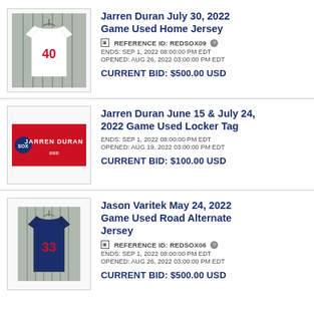[Figure (photo): White baseball jersey with number 40 hanging on a rack]
Jarren Duran July 30, 2022 Game Used Home Jersey
REFERENCE ID: REDSOX09
ENDS: SEP 1, 2022 08:00:00 PM EDT
OPENED: AUG 26, 2022 03:00:00 PM EDT
CURRENT BID: $500.00 USD
[Figure (photo): Red Sox locker name tag for Jarren Duran]
Jarren Duran June 15 & July 24, 2022 Game Used Locker Tag
ENDS: SEP 1, 2022 08:00:00 PM EDT
OPENED: AUG 19, 2022 03:00:00 PM EDT
CURRENT BID: $100.00 USD
[Figure (photo): Dark navy baseball jersey with number 33 hanging on a rack]
Jason Varitek May 24, 2022 Game Used Road Alternate Jersey
REFERENCE ID: REDSOX06
ENDS: SEP 1, 2022 08:00:00 PM EDT
OPENED: AUG 26, 2022 03:00:00 PM EDT
CURRENT BID: $500.00 USD